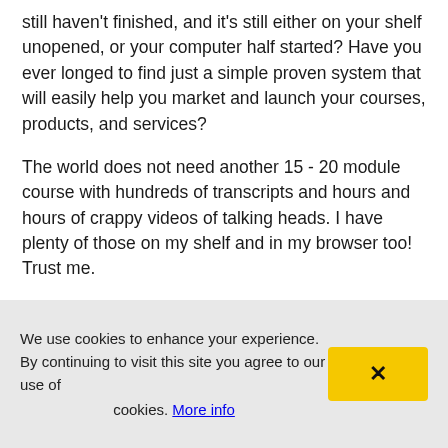still haven't finished, and it's still either on your shelf unopened, or your computer half started? Have you ever longed to find just a simple proven system that will easily help you market and launch your courses, products, and services?
The world does not need another 15 - 20 module course with hundreds of transcripts and hours and hours of crappy videos of talking heads. I have plenty of those on my shelf and in my browser too! Trust me.
This binge buying of courses and products needs to stop. I need to stop feeling guilty for all the courses I bought and finished. And, I'm permitting you to stop
We use cookies to enhance your experience. By continuing to visit this site you agree to our use of cookies. More info